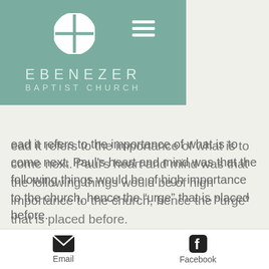[Figure (logo): Ebenezer Baptist Church logo with circular cross symbol and church name in teal header bar]
…ead it refers to the importance of what is to come next. Paul's heart and mind was that the following things would be of high importance to the church, hence the “urge” that is placed before.
“that petitions, prayers, intercession and thanksgiving be made for all people”
Petition (Greek: Deēsis) - Also known as supplication is essentially a request
Email   Facebook